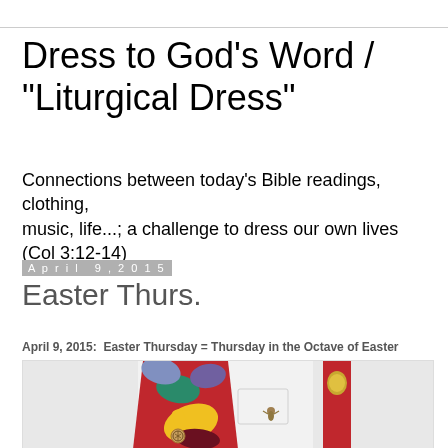Dress to God's Word / "Liturgical Dress"
Connections between today's Bible readings, clothing, music, life...; a challenge to dress our own lives (Col 3:12-14)
April 9, 2015
Easter Thurs.
April 9, 2015:  Easter Thursday = Thursday in the Octave of Easter
[Figure (photo): Close-up photograph of a colorful tie with hand motifs in red, yellow, teal, and purple, with a peace pin, alongside a white shirt with a small angel brooch and a red suspender with a gold decorative pin.]